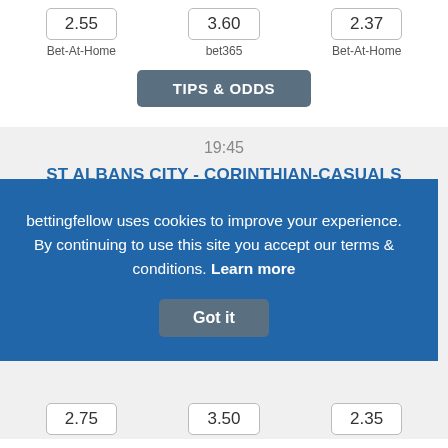2.55 Bet-At-Home
3.60 bet365
2.37 Bet-At-Home
TIPS & ODDS
19:45
ST ALBANS CITY - CORINTHIAN-CASUALS
bettingfellow uses cookies to improve your experience. By continuing to use this site you accept our terms & conditions. Learn more Got it
2.75
3.50
2.35